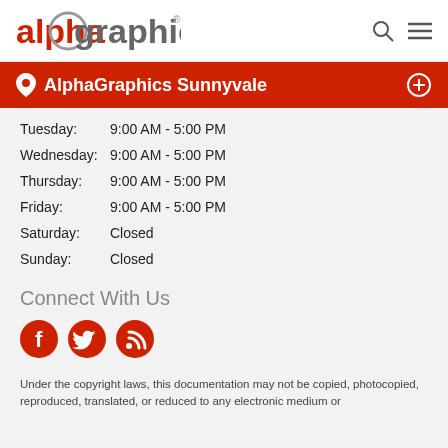alphagraphics
AlphaGraphics Sunnyvale
Tuesday: 9:00 AM - 5:00 PM
Wednesday: 9:00 AM - 5:00 PM
Thursday: 9:00 AM - 5:00 PM
Friday: 9:00 AM - 5:00 PM
Saturday: Closed
Sunday: Closed
Connect With Us
[Figure (illustration): Red circular social media icons: Facebook, Twitter, RSS feed]
Under the copyright laws, this documentation may not be copied, photocopied, reproduced, translated, or reduced to any electronic medium or